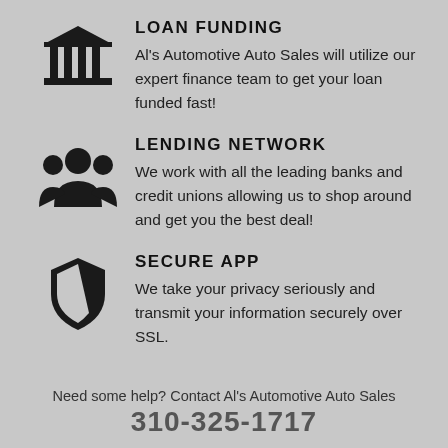[Figure (illustration): Bank/institution icon — a classical building with columns and a triangular pediment (bank icon)]
LOAN FUNDING
Al's Automotive Auto Sales will utilize our expert finance team to get your loan funded fast!
[Figure (illustration): Group of people/community icon — three silhouette figures representing a lending network]
LENDING NETWORK
We work with all the leading banks and credit unions allowing us to shop around and get you the best deal!
[Figure (illustration): Shield with a keyhole/lock icon representing security — Secure App icon]
SECURE APP
We take your privacy seriously and transmit your information securely over SSL.
Need some help? Contact Al's Automotive Auto Sales
310-325-1717